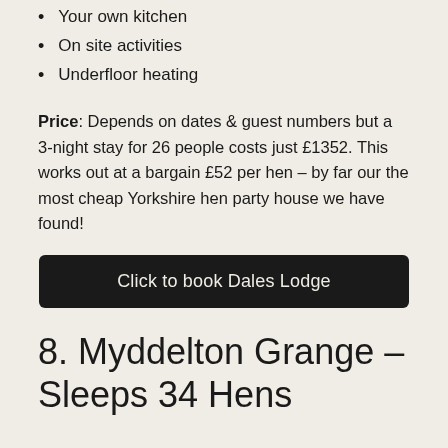Your own kitchen
On site activities
Underfloor heating
Price: Depends on dates & guest numbers but a 3-night stay for 26 people costs just £1352. This works out at a bargain £52 per hen – by far our the most cheap Yorkshire hen party house we have found!
Click to book Dales Lodge
8. Myddelton Grange – Sleeps 34 Hens